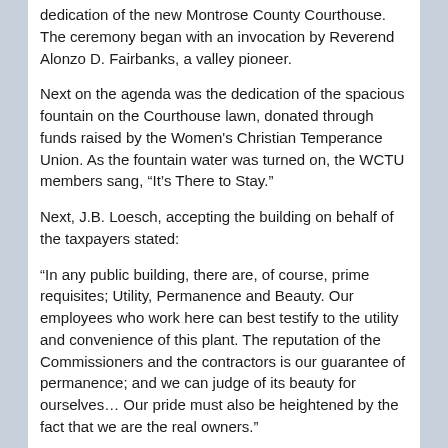dedication of the new Montrose County Courthouse. The ceremony began with an invocation by Reverend Alonzo D. Fairbanks, a valley pioneer.
Next on the agenda was the dedication of the spacious fountain on the Courthouse lawn, donated through funds raised by the Women's Christian Temperance Union. As the fountain water was turned on, the WCTU members sang, “It’s There to Stay.”
Next, J.B. Loesch, accepting the building on behalf of the taxpayers stated:
“In any public building, there are, of course, prime requisites; Utility, Permanence and Beauty. Our employees who work here can best testify to the utility and convenience of this plant. The reputation of the Commissioners and the contractors is our guarantee of permanence; and we can judge of its beauty for ourselves… Our pride must also be heightened by the fact that we are the real owners.”
A listing of the rooms in the dedication program for the new